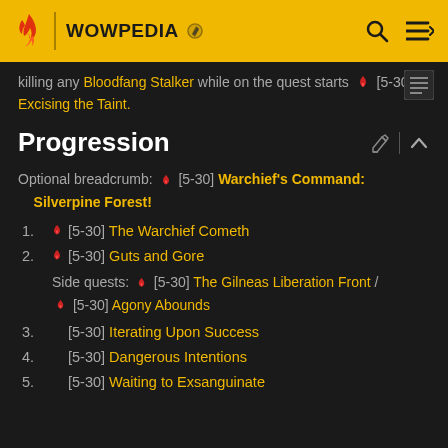WOWPEDIA
killing any Bloodfang Stalker while on the quest starts [5-30] Excising the Taint.
Progression
Optional breadcrumb: [5-30] Warchief's Command: Silverpine Forest!
1. [5-30] The Warchief Cometh
2. [5-30] Guts and Gore
Side quests: [5-30] The Gilneas Liberation Front / [5-30] Agony Abounds
3. [5-30] Iterating Upon Success
4. [5-30] Dangerous Intentions
5. [5-30] Waiting to Exsanguinate